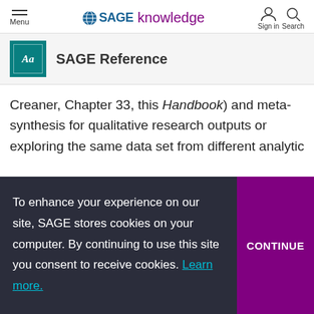SAGE knowledge — Menu | Sign in | Search
SAGE Reference
Creaner, Chapter 33, this Handbook) and meta-synthesis for qualitative research outputs or exploring the same data set from different analytic
To enhance your experience on our site, SAGE stores cookies on your computer. By continuing to use this site you consent to receive cookies. Learn more.
CONTINUE